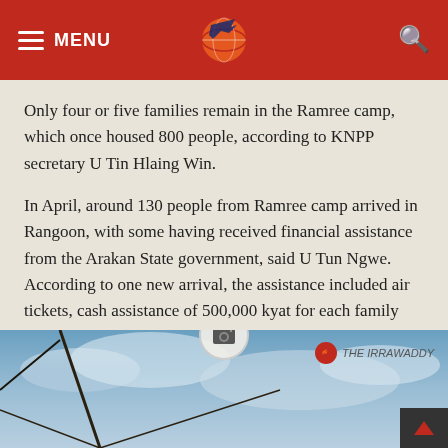MENU | [logo] | [search]
Only four or five families remain in the Ramree camp, which once housed 800 people, according to KNPP secretary U Tin Hlaing Win.
In April, around 130 people from Ramree camp arrived in Rangoon, with some having received financial assistance from the Arakan State government, said U Tun Ngwe. According to one new arrival, the assistance included air tickets, cash assistance of 500,000 kyat for each family and an additional 100,000 kyat per family member.
[Figure (photo): Outdoor scene with wires or poles against a sky background, with The Irrawaddy watermark]